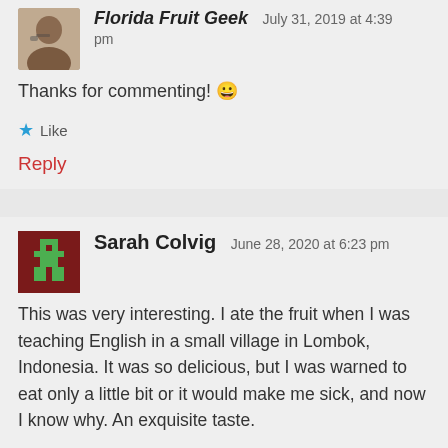[Figure (photo): Small avatar photo of Florida Fruit Geek, a person with glasses]
Florida Fruit Geek  July 31, 2019 at 4:39 pm
Thanks for commenting! 😀
★ Like
Reply
[Figure (illustration): Default avatar icon for Sarah Colvig — dark red background with green pixelated person icon]
Sarah Colvig  June 28, 2020 at 6:23 pm
This was very interesting. I ate the fruit when I was teaching English in a small village in Lombok, Indonesia. It was so delicious, but I was warned to eat only a little bit or it would make me sick, and now I know why. An exquisite taste.
★ Liked by 1 person